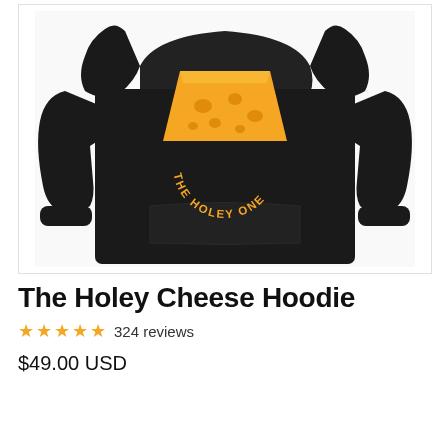[Figure (photo): Black hoodie sweatshirt with a golden cheese wedge graphic and the text 'THE HOLEY ONE' printed in an arc on the front chest area, displayed flat on a white background.]
The Holey Cheese Hoodie
★★★★★ 324 reviews
$49.00 USD